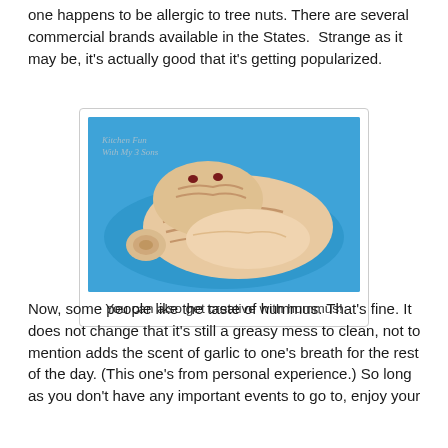one happens to be allergic to tree nuts. There are several commercial brands available in the States.  Strange as it may be, it's actually good that it's getting popularized.
[Figure (photo): A hummus sculpture shaped like Jabba the Hutt (a Star Wars character) on a blue plate. Watermark reads 'Kitchen Fun With My 3 Sons'.]
You can also get creative with hummus!
Now, some people like the taste of hummus. That's fine. It does not change that it's still a greasy mess to clean, not to mention adds the scent of garlic to one's breath for the rest of the day. (This one's from personal experience.) So long as you don't have any important events to go to, enjoy your